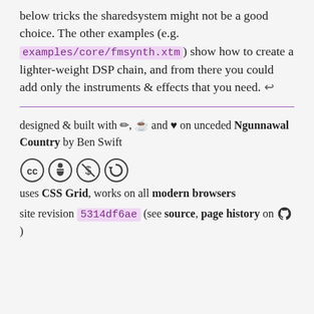below tricks the sharedsystem might not be a good choice. The other examples (e.g. examples/core/fmsynth.xtm) show how to create a lighter-weight DSP chain, and from there you could add only the instruments & effects that you need. ↩
designed & built with ✏, ☕ and ♥ on unceded Ngunnawal Country by Ben Swift
[Figure (other): Creative Commons license icons: CC, BY, NC, SA]
uses CSS Grid, works on all modern browsers
site revision 5314df6ae (see source, page history on GitHub)